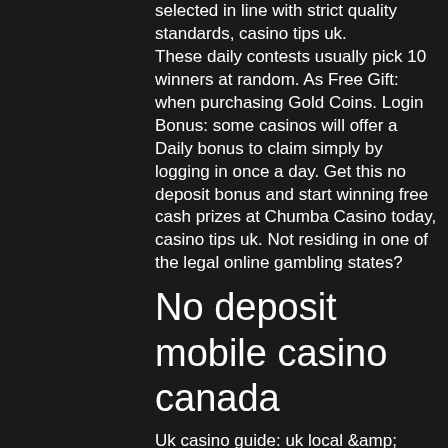selected in line with strict quality standards, casino tips uk. These daily contests usually pick 10 winners at random. As Free Gift: when purchasing Gold Coins. Login Bonus: some casinos will offer a Daily bonus to claim simply by logging in once a day. Get this no deposit bonus and start winning free cash prizes at Chumba Casino today, casino tips uk. Not residing in one of the legal online gambling states?
No deposit mobile casino canada
Uk casino guide: uk local &amp; online casinos welcome to the uk casino guide - your number one resource for casino gambling in the uk. You cannot force your family member or friend to acknowledge that their gambling is a problem. Inform the gambler of. Worried about gambling or betting debts? get free expert advice on